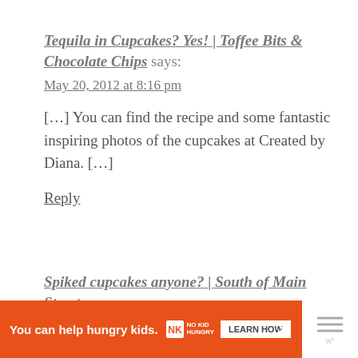Tequila in Cupcakes? Yes! | Toffee Bits & Chocolate Chips says:
May 20, 2012 at 8:16 pm
[…] You can find the recipe and some fantastic inspiring photos of the cupcakes at Created by Diana. […]
Reply
Spiked cupcakes anyone? | South of Main Street says:
[Figure (other): Orange advertisement banner: 'You can help hungry kids. No Kid Hungry. LEARN HOW' with close button and WordPress icon]